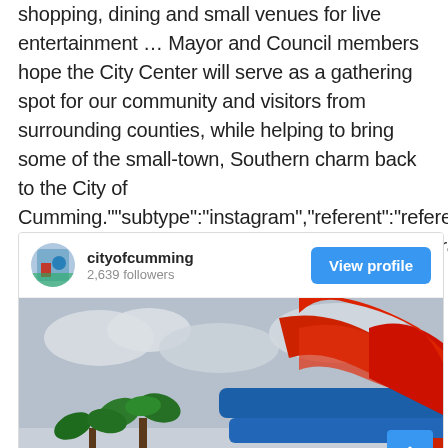shopping, dining and small venues for live entertainment … Mayor and Council members hope the City Center will serve as a gathering spot for our community and visitors from surrounding counties, while helping to bring some of the small-town, Southern charm back to the City of Cumming."","subtype":"instagram","referent":"referent_[],"_id":1652805156625,"provider":"https://api.instagram url=","service":"oembed","id":"https://www.instagram.co
[Figure (screenshot): Instagram profile card for cityofcumming with 2,639 followers and a View profile button, below which is a photo of a colorful inflatable bounce house/water slide at an outdoor event.]